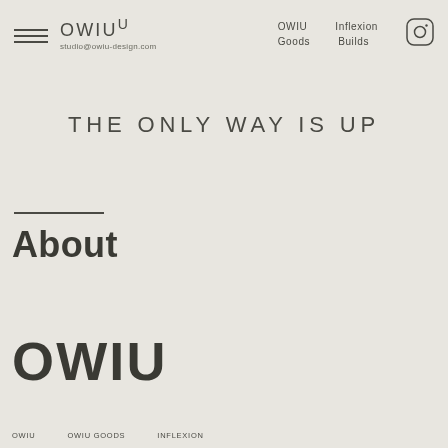OWIU U  studio@owiu-design.com  OWIU  Inflexion  Goods  Builds
THE ONLY WAY IS UP
About
OWIU
OWIU  OWIU GOODS  INFLEXION